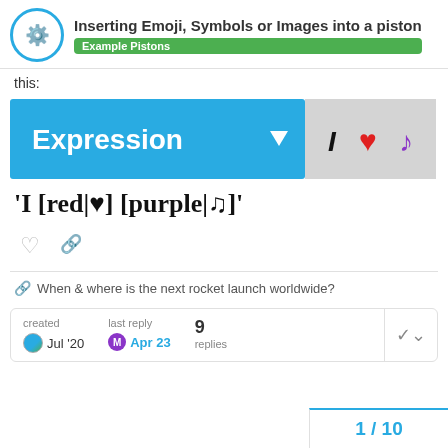Inserting Emoji, Symbols or Images into a piston — Example Pistons
this:
[Figure (screenshot): Expression widget UI showing 'Expression' dropdown button in cyan/blue with a dropdown arrow, and a gray panel showing 'I', a red heart emoji, and a purple musical note emoji]
'I [red|♥] [purple|♫]'
When & where is the next rocket launch worldwide?
| created | last reply | replies |
| --- | --- | --- |
| Jul '20 | Apr 23 | 9 |